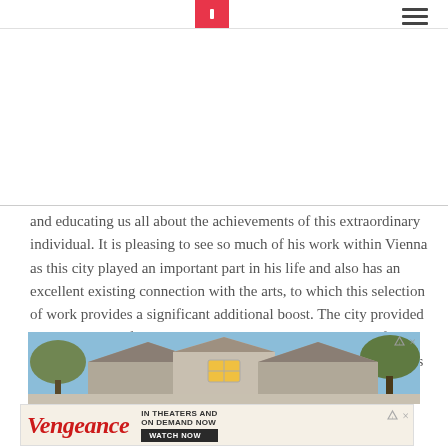[navigation bar with menu icon]
and educating us all about the achievements of this extraordinary individual. It is pleasing to see so much of his work within Vienna as this city played an important part in his life and also has an excellent existing connection with the arts, to which this selection of work provides a significant additional boost. The city provided him with most of his early training and also provided significant cultural outlets that could help develop his imagination just as his career started to take off.
[Figure (photo): House exterior photo showing rooflines against a blue sky with trees on both sides]
[Figure (other): Vengeance movie advertisement banner — IN THEATERS AND ON DEMAND NOW — WATCH NOW]